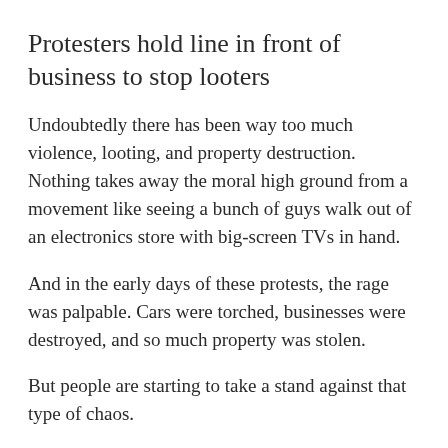Protesters hold line in front of business to stop looters
Undoubtedly there has been way too much violence, looting, and property destruction. Nothing takes away the moral high ground from a movement like seeing a bunch of guys walk out of an electronics store with big-screen TVs in hand.
And in the early days of these protests, the rage was palpable. Cars were torched, businesses were destroyed, and so much property was stolen.
But people are starting to take a stand against that type of chaos.